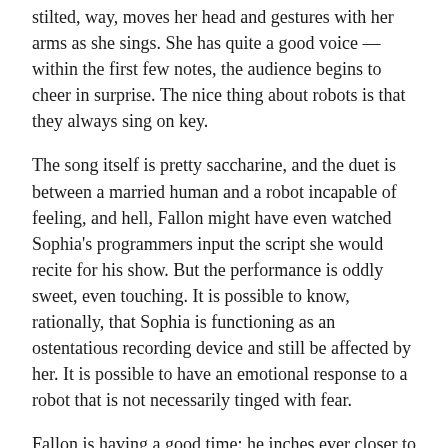stilted, way, moves her head and gestures with her arms as she sings. She has quite a good voice — within the first few notes, the audience begins to cheer in surprise. The nice thing about robots is that they always sing on key.
The song itself is pretty saccharine, and the duet is between a married human and a robot incapable of feeling, and hell, Fallon might have even watched Sophia's programmers input the script she would recite for his show. But the performance is oddly sweet, even touching. It is possible to know, rationally, that Sophia is functioning as an ostentatious recording device and still be affected by her. It is possible to have an emotional response to a robot that is not necessarily tinged with fear.
Fallon is having a good time: he inches ever closer to Sophia's face, and the audience laughs at their pantomime of sentimentality, and he pulls away just as the performance ends, and erupts into a long-suppressed fit of laughter, which looks like it was released from a place deep in his belly, somewhere lumpy and damp and vital.